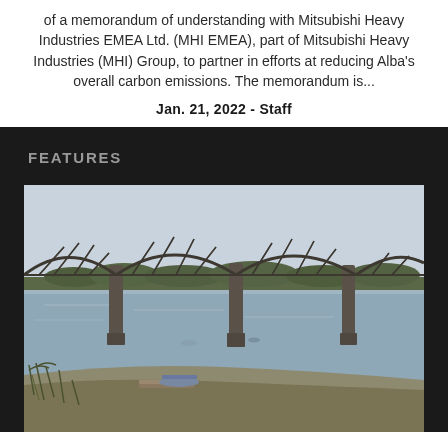of a memorandum of understanding with Mitsubishi Heavy Industries EMEA Ltd. (MHI EMEA), part of Mitsubishi Heavy Industries (MHI) Group, to partner in efforts at reducing Alba's overall carbon emissions. The memorandum is...
Jan. 21, 2022 - Staff
FEATURES
[Figure (photo): A truss railway/road bridge spanning a wide river, photographed from the riverbank. The bridge has multiple steel arch truss spans supported by concrete piers. The river is calm with a few small boats. The foreground shows a sandy/rocky bank with reeds and vegetation. The sky is hazy.]